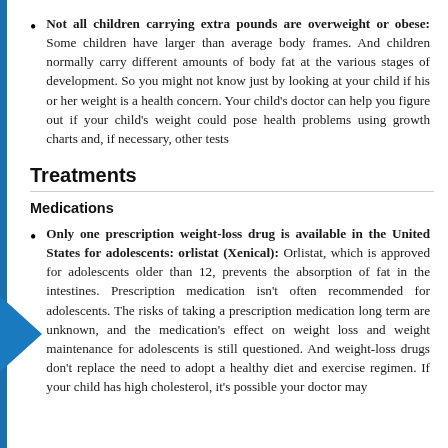Not all children carrying extra pounds are overweight or obese: Some children have larger than average body frames. And children normally carry different amounts of body fat at the various stages of development. So you might not know just by looking at your child if his or her weight is a health concern. Your child's doctor can help you figure out if your child's weight could pose health problems using growth charts and, if necessary, other tests
Treatments
Medications
Only one prescription weight-loss drug is available in the United States for adolescents: orlistat (Xenical): Orlistat, which is approved for adolescents older than 12, prevents the absorption of fat in the intestines. Prescription medication isn't often recommended for adolescents. The risks of taking a prescription medication long term are unknown, and the medication's effect on weight loss and weight maintenance for adolescents is still questioned. And weight-loss drugs don't replace the need to adopt a healthy diet and exercise regimen. If your child has high cholesterol, it's possible your doctor may